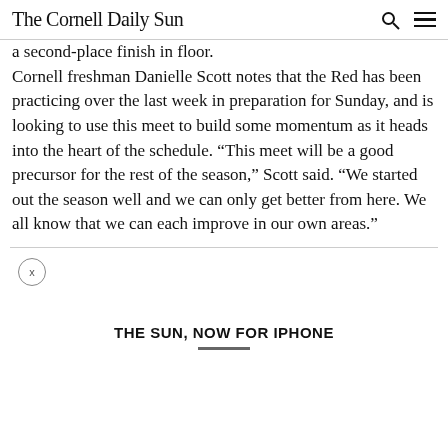The Cornell Daily Sun
a second-place finish in floor.
Cornell freshman Danielle Scott notes that the Red has been practicing over the last week in preparation for Sunday, and is looking to use this meet to build some momentum as it heads into the heart of the schedule. “This meet will be a good precursor for the rest of the season,” Scott said. “We started out the season well and we can only get better from here. We all know that we can each improve in our own areas.”
THE SUN, NOW FOR IPHONE